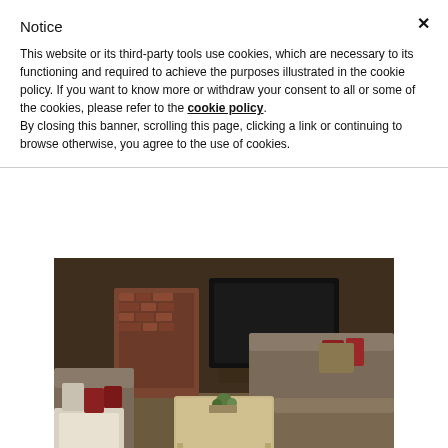Notice
This website or its third-party tools use cookies, which are necessary to its functioning and required to achieve the purposes illustrated in the cookie policy. If you want to know more or withdraw your consent to all or some of the cookies, please refer to the cookie policy. By closing this banner, scrolling this page, clicking a link or continuing to browse otherwise, you agree to the use of cookies.
[Figure (photo): Living room with brown/taupe sofas arranged around a wooden coffee table, brick fireplace and TV in background, dimly lit interior]
Moving this pew downstairs was new this year because we had a new piece up in our front room that had to be moved where the pew normally sits. I was worried it would crowd up our basement, but I actually love having it there!